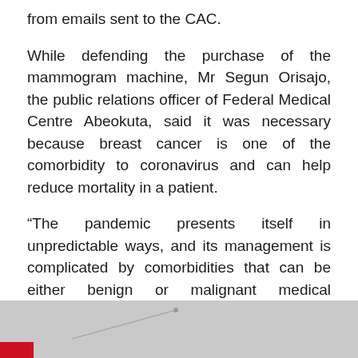from emails sent to the CAC.
While defending the purchase of the mammogram machine, Mr Segun Orisajo, the public relations officer of Federal Medical Centre Abeokuta, said it was necessary because breast cancer is one of the comorbidity to coronavirus and can help reduce mortality in a patient.
“The pandemic presents itself in unpredictable ways, and its management is complicated by comorbidities that can be either benign or malignant medical conditions. The presence of comorbidities presents a great challenge to the survival of the patient, and their presence increases COVID-19 mortality.
[Figure (photo): Partial photograph visible at the bottom of the page, showing a grey/white background with a red accent element in the lower left corner.]